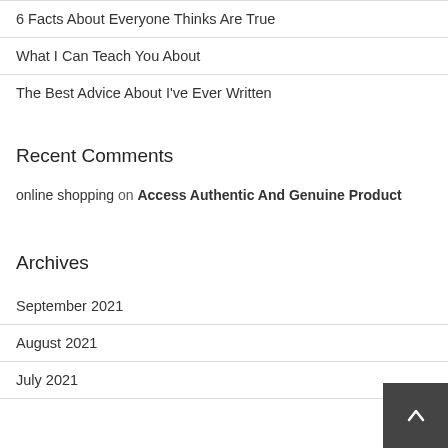6 Facts About Everyone Thinks Are True
What I Can Teach You About
The Best Advice About I've Ever Written
Recent Comments
online shopping on Access Authentic And Genuine Product
Archives
September 2021
August 2021
July 2021